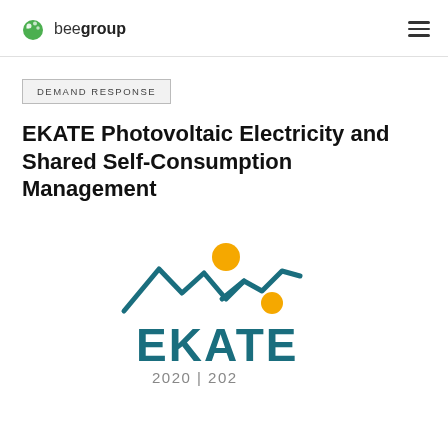beegroup
DEMAND RESPONSE
EKATE Photovoltaic Electricity and Shared Self-Consumption Management
[Figure (logo): EKATE project logo with mountain/zigzag line graphic and orange sun dots, teal text reading EKATE, and partial date 2020-2023]